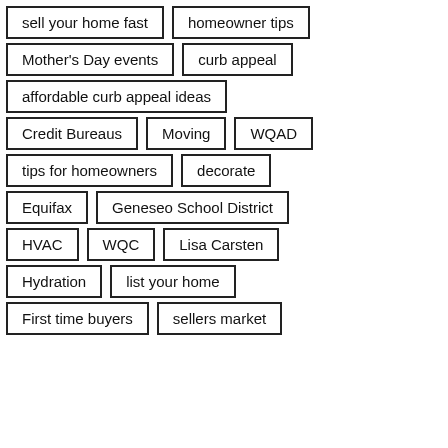sell your home fast
homeowner tips
Mother's Day events
curb appeal
affordable curb appeal ideas
Credit Bureaus
Moving
WQAD
tips for homeowners
decorate
Equifax
Geneseo School District
HVAC
WQC
Lisa Carsten
Hydration
list your home
First time buyers
sellers market